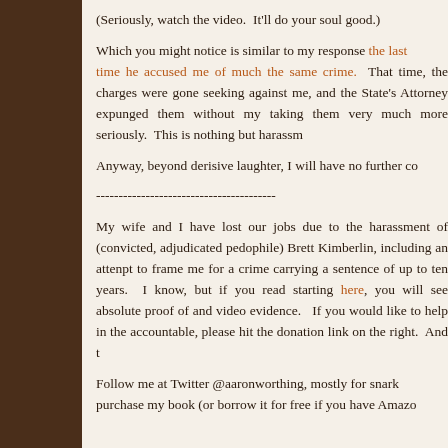(Seriously, watch the video.  It'll do your soul good.)
Which you might notice is similar to my response the last time he accused me of much the same crime.  That time, the charges were gone seeking against me, and the State's Attorney expunged them without my taking them very much more seriously.  This is nothing but harassment.
Anyway, beyond derisive laughter, I will have no further co...
----------------------------------------
My wife and I have lost our jobs due to the harassment of (convicted, adjudicated pedophile) Brett Kimberlin, including an attempt to frame me for a crime carrying a sentence of up to ten years.  I know, but if you read starting here, you will see absolute proof of photo and video evidence.  If you would like to help in the accountable, please hit the donation link on the right.  And t...
Follow me at Twitter @aaronworthing, mostly for snark purchase my book (or borrow it for free if you have Amazo...